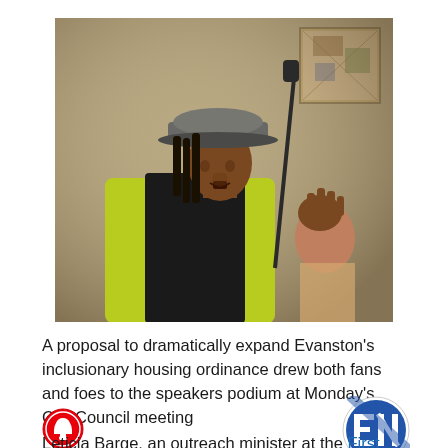[Figure (photo): A woman wearing a gray cap and yellow-green shirt speaking at a microphone at a city council meeting. She is facing the microphone with her hand raised. In the background there is another person and what appears to be artwork on the wall.]
A proposal to dramatically expand Evanston's inclusionary housing ordinance drew both fans and foes to the speakers podium at Monday's City Council meeting
Leticia Barge, an outreach minister at the First